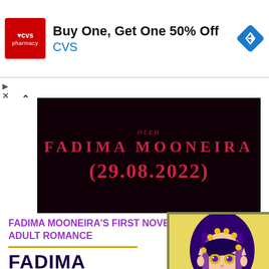[Figure (screenshot): CVS Pharmacy advertisement banner: red CVS logo on left, 'Buy One, Get One 50% Off' headline, 'CVS' in blue text, blue diamond navigation icon on right]
[Figure (screenshot): Dark panel book cover showing author name 'FADIMA MOONEIRA' and date '(29.08.2022)' in red text on near-black background]
FADIMA MOONEIRA'S FIRST NOVEL/ ADULT ROMANCE
[Figure (illustration): Illustrated girl with purple hair decorated with yellow flowers, yellow eyes with purple pupils, purple lips, wearing dark clothing, against a yellow/cream background]